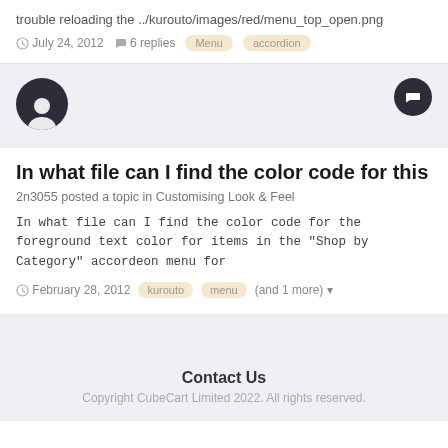trouble reloading the ../kurouto/images/red/menu_top_open.png
July 24, 2012   6 replies   Menu   accordion
[Figure (illustration): User avatar icon (dark circle with person silhouette) and a comment button (dark circle with speech bubble icon)]
In what file can I find the color code for this
2n3055 posted a topic in Customising Look & Feel
In what file can I find the color code for the foreground text color for items in the "Shop by Category" accordeon menu for
February 28, 2012   kurouto   menu   (and 1 more)
Contact Us
Copyright CubeCart Limited 2022. All rights reserved.